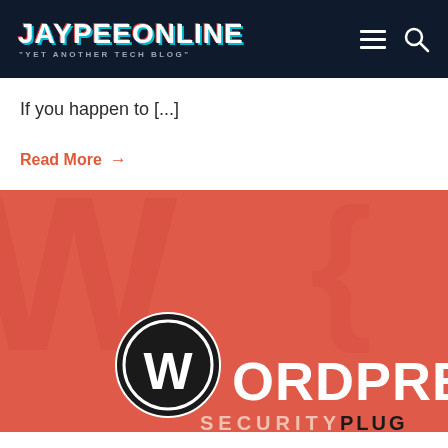JAYPEEONLINE "YET ANOTHER TECH BLOG"
If you happen to [...]
Read More →
[Figure (illustration): Red/coral banner image for a WordPress Security Plugin article, showing the WordPress logo (circle with W) and large white text reading 'WORDPRESS SECURITY PLUG' on a red background with watermark-style WordPress logo pattern]